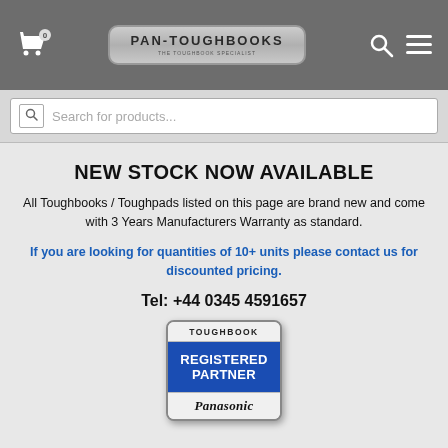Pan-Toughbooks - The Toughbook Specialist
Search for products...
NEW STOCK NOW AVAILABLE
All Toughbooks / Toughpads listed on this page are brand new and come with 3 Years Manufacturers Warranty as standard.
If you are looking for quantities of 10+ units please contact us for discounted pricing.
Tel: +44 0345 4591657
[Figure (logo): Toughbook Registered Partner Panasonic badge/logo]